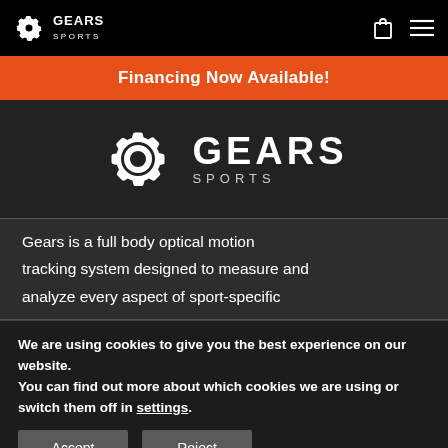GEARS SPORTS
Financing Now Available!
[Figure (logo): Gears Sports logo — gear icon with text GEARS SPORTS]
Gears is a full body optical motion tracking system designed to measure and analyze every aspect of sport-specific
We are using cookies to give you the best experience on our website.
You can find out more about which cookies we are using or switch them off in settings.
Accept
Reject